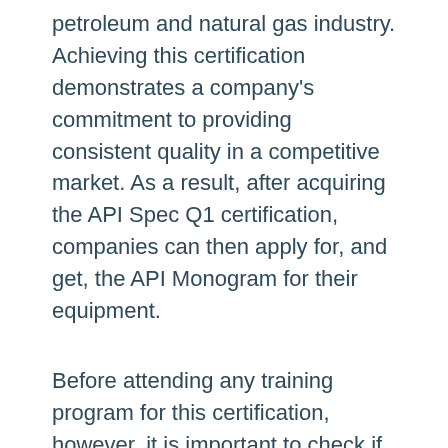petroleum and natural gas industry. Achieving this certification demonstrates a company's commitment to providing consistent quality in a competitive market. As a result, after acquiring the API Spec Q1 certification, companies can then apply for, and get, the API Monogram for their equipment.
Before attending any training program for this certification, however, it is important to check if the organization providing the API Q1 course is an API U training provider. Resource Inspections Canada Incorporated (RICI) is exactly such an organization, which then provides applicant companies the opportunity